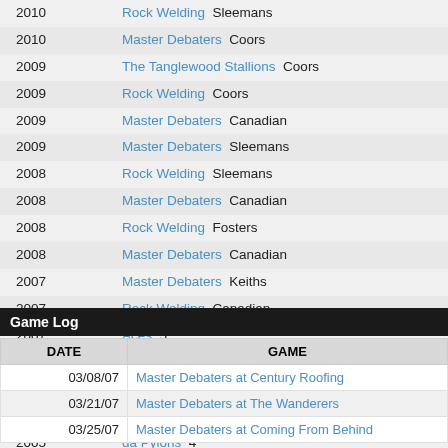| Year | Team/Game |
| --- | --- |
| 2010 | Rock Welding  Sleemans |
| 2010 | Master Debaters  Coors |
| 2009 | The Tanglewood Stallions  Coors |
| 2009 | Rock Welding  Coors |
| 2009 | Master Debaters  Canadian |
| 2009 | Master Debaters  Sleemans |
| 2008 | Rock Welding  Sleemans |
| 2008 | Master Debaters  Canadian |
| 2008 | Rock Welding  Fosters |
| 2008 | Master Debaters  Canadian |
| 2007 | Master Debaters  Keiths |
| 2007 | Rock Welding  Canadian |
| 2007 | Aces  5 |
| 2007 | Master Debaters  3 |
| 2006 | Master Debaters  4 |
| 2006 | Master Debaters  5 |
| 2005 | da Pylons  4 |
Game Log
| DATE | GAME |
| --- | --- |
| 03/08/07 | Master Debaters at Century Roofing |
| 03/21/07 | Master Debaters at The Wanderers |
| 03/25/07 | Master Debaters at Coming From Behind |